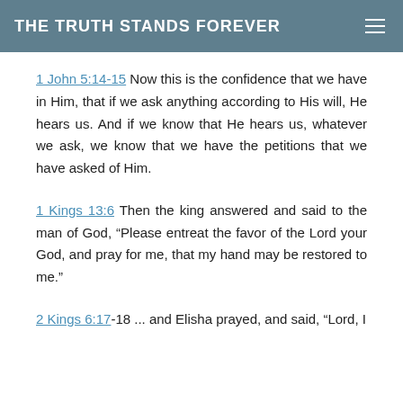THE TRUTH STANDS FOREVER
1 John 5:14-15 Now this is the confidence that we have in Him, that if we ask anything according to His will, He hears us. And if we know that He hears us, whatever we ask, we know that we have the petitions that we have asked of Him.
1 Kings 13:6 Then the king answered and said to the man of God, “Please entreat the favor of the Lord your God, and pray for me, that my hand may be restored to me.”
2 Kings 6:17-18 ... and Elisha prayed, and said, “Lord, I